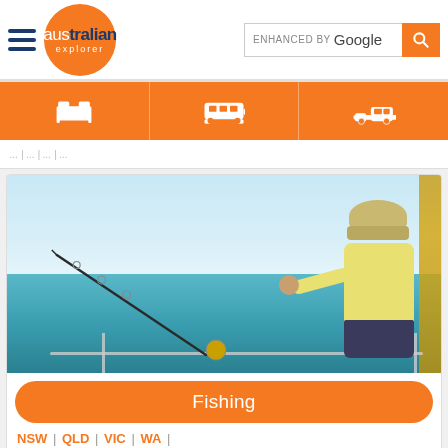australian explorer | ENHANCED BY Google
[Figure (photo): Man wearing a hat and yellow shirt fishing with a rod on a boat, blue ocean water in background]
Fishing
NSW | QLD | VIC | WA |